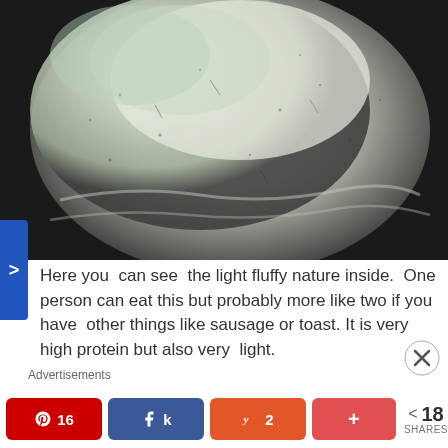[Figure (photo): Close-up photo of a light, fluffy egg white omelet or souffle in a dark pan, showing white and pale green/herb-speckled texture]
Here you can see the light fluffy nature inside. One person can eat this but probably more like two if you have other things like sausage or toast. It is very high protein but also very light.
Advertisements
16  [share]  2  +   < 18 SHARES